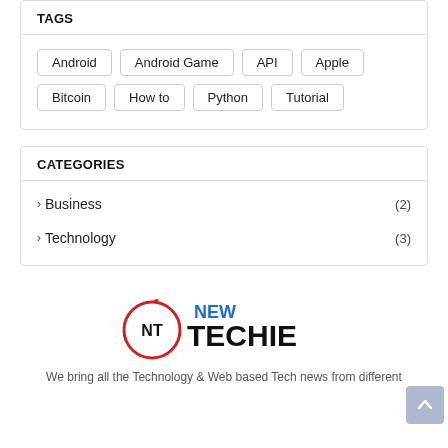TAGS
Android
Android Game
API
Apple
Bitcoin
How to
Python
Tutorial
CATEGORIES
› Business (2)
› Technology (3)
[Figure (logo): New Techie logo with NT emblem in red circle and blue/black text]
We bring all the Technology & Web based Tech news from different